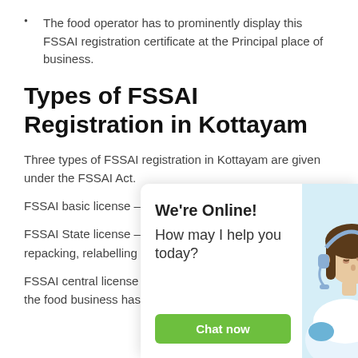The food operator has to prominently display this FSSAI registration certificate at the Principal place of business.
Types of FSSAI Registration in Kottayam
Three types of FSSAI registration in Kottayam are given under the FSSAI Act.
FSSAI basic license – Bas... the annual turnover is le...
FSSAI State license – Sta... annual turnover is betwe... repacking, relabelling bu... the business needs a st...
FSSAI central license – In... exceeding Rs 20 crore then the food business has to appl...
[Figure (photo): Chat widget overlay showing a customer service representative with headset, with 'We're Online!' heading, 'How may I help you today?' text, and a green 'Chat now' button.]